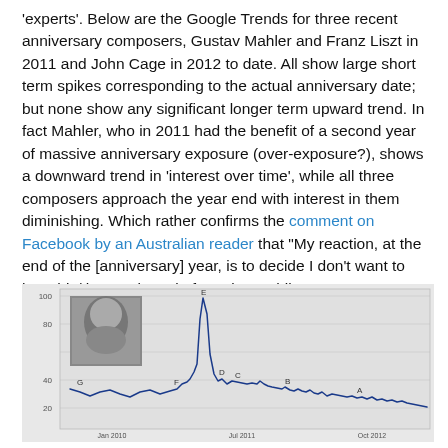'experts'. Below are the Google Trends for three recent anniversary composers, Gustav Mahler and Franz Liszt in 2011 and John Cage in 2012 to date. All show large short term spikes corresponding to the actual anniversary date; but none show any significant longer term upward trend. In fact Mahler, who in 2011 had the benefit of a second year of massive anniversary exposure (over-exposure?), shows a downward trend in 'interest over time', while all three composers approach the year end with interest in them diminishing. Which rather confirms the comment on Facebook by an Australian reader that "My reaction, at the end of the [anniversary] year, is to decide I don't want to hear his/ her work again for quite a while".
[Figure (line-chart): Line chart showing Google Trends interest over time for Gustav Mahler, with a large spike around mid-2011 (anniversary date) labeled E, and several smaller labeled points G, F, D, C, B, A. The trend shows a general downward slope after the spike. A black-and-white portrait photo of Mahler is inset in the upper left of the chart.]